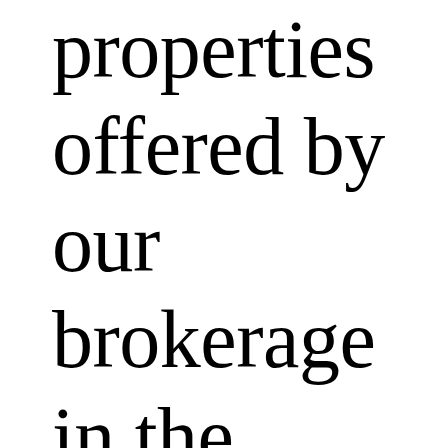properties offered by our brokerage in the newest edition of Galleries